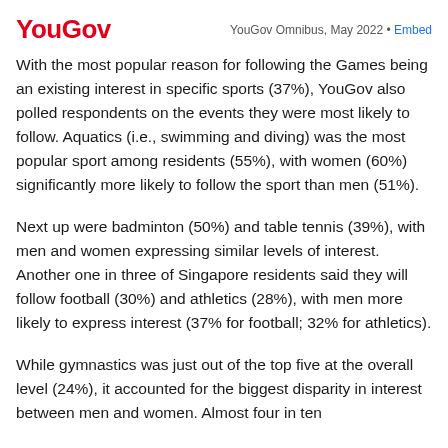YouGov | YouGov Omnibus, May 2022 • Embed
With the most popular reason for following the Games being an existing interest in specific sports (37%), YouGov also polled respondents on the events they were most likely to follow. Aquatics (i.e., swimming and diving) was the most popular sport among residents (55%), with women (60%) significantly more likely to follow the sport than men (51%).
Next up were badminton (50%) and table tennis (39%), with men and women expressing similar levels of interest. Another one in three of Singapore residents said they will follow football (30%) and athletics (28%), with men more likely to express interest (37% for football; 32% for athletics).
While gymnastics was just out of the top five at the overall level (24%), it accounted for the biggest disparity in interest between men and women. Almost four in ten women reported they'd follow the Games and the G...